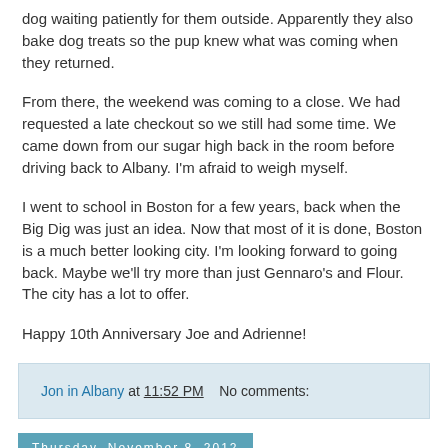dog waiting patiently for them outside. Apparently they also bake dog treats so the pup knew what was coming when they returned.
From there, the weekend was coming to a close. We had requested a late checkout so we still had some time. We came down from our sugar high back in the room before driving back to Albany. I'm afraid to weigh myself.
I went to school in Boston for a few years, back when the Big Dig was just an idea. Now that most of it is done, Boston is a much better looking city. I'm looking forward to going back. Maybe we'll try more than just Gennaro's and Flour. The city has a lot to offer.
Happy 10th Anniversary Joe and Adrienne!
Jon in Albany at 11:52 PM    No comments:
Thursday, November 8, 2012